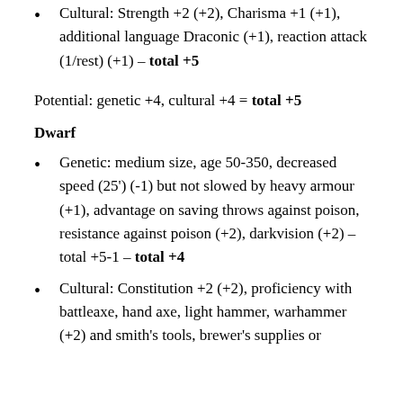Cultural: Strength +2 (+2), Charisma +1 (+1), additional language Draconic (+1), reaction attack (1/rest) (+1) – total +5
Potential: genetic +4, cultural +4 = total +5
Dwarf
Genetic: medium size, age 50-350, decreased speed (25') (-1) but not slowed by heavy armour (+1), advantage on saving throws against poison, resistance against poison (+2), darkvision (+2) – total +5-1 – total +4
Cultural: Constitution +2 (+2), proficiency with battleaxe, hand axe, light hammer, warhammer (+2) and smith's tools, brewer's supplies or